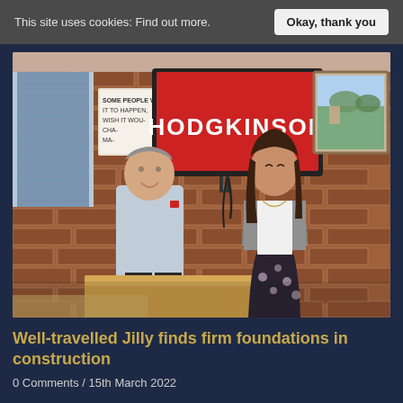This site uses cookies: Find out more.   Okay, thank you
[Figure (photo): Two people standing in an office with a brick wall background. A large TV screen displays the 'HODGKINSON' logo in white on red. A man in a light blue shirt stands on the left smiling, and a young woman in a white top with a grey cardigan and floral skirt stands on the right.]
Well-travelled Jilly finds firm foundations in construction
0 Comments / 15th March 2022